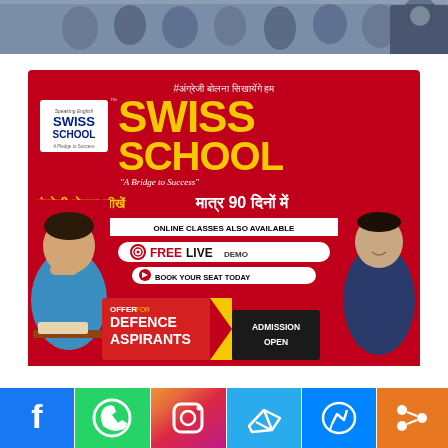[Figure (photo): Top banner showing group photo of students and people in military/formal attire]
[Figure (infographic): Swiss School advertisement on red background. Text: #अंग्रेजी बोलना सिखायेंगे हम, SWISS SCHOOL, A Bridge to Success, अंग्रेजी बोलना सीखें मात्र 90 दिनों में, ONLINE CLASSES ALSO AVAILABLE, FREE LIVE DEMO, BOOK YOUR SEAT TODAY, OFFER FOR DEFENCE ASPIRANTS, ADMISSION OPEN]
[Figure (infographic): Social media buttons bar: Facebook, WhatsApp, Instagram, Telegram, Messenger, Share]